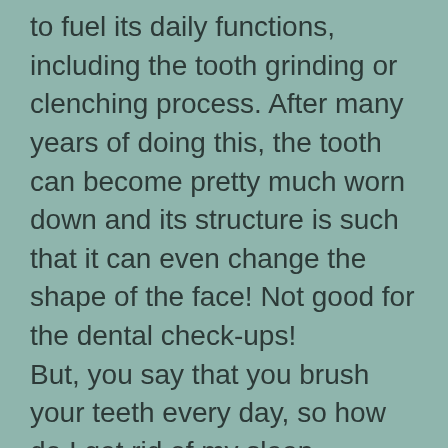to fuel its daily functions, including the tooth grinding or clenching process. After many years of doing this, the tooth can become pretty much worn down and its structure is such that it can even change the shape of the face! Not good for the dental check-ups!
But, you say that you brush your teeth every day, so how do I get rid of my sleep bruxism? If you do a sit or stretch session once or twice a day, that alone will not be as effective as using a mouth guard. Since your mouth guard is not a cure, it will not stop grinding teeth in the night.